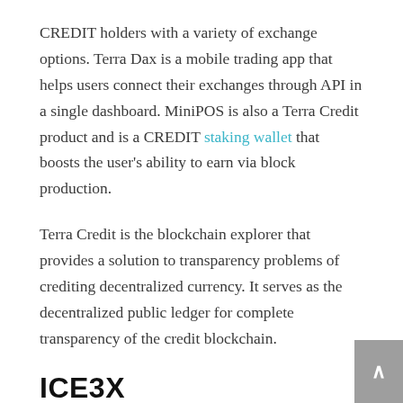CREDIT holders with a variety of exchange options. Terra Dax is a mobile trading app that helps users connect their exchanges through API in a single dashboard. MiniPOS is also a Terra Credit product and is a CREDIT staking wallet that boosts the user's ability to earn via block production.
Terra Credit is the blockchain explorer that provides a solution to transparency problems of crediting decentralized currency. It serves as the decentralized public ledger for complete transparency of the credit blockchain.
ICE3X
ICE3X is a South African platform that pursues a commitment to offering clients the best opportunity to trade cryptocurrencies with fiat currency. It integrates